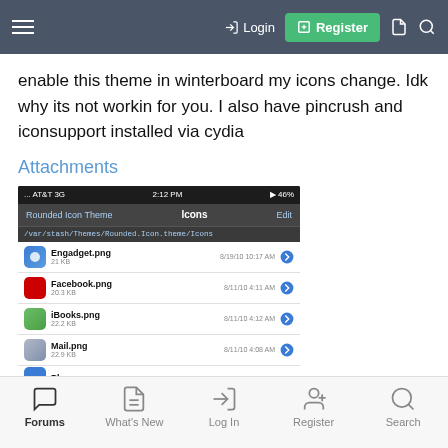Login | Register
enable this theme in winterboard my icons change. Idk why its not workin for you. I also have pincrush and iconsupport installed via cydia
Attachments
[Figure (screenshot): iOS file browser screenshot showing Rounded Icon Theme Icons folder with files: Engadget.png (21 KB), Facebook.png (20.3 KB), iBooks.png (22.2 KB), Mail.png (22.9 KB), Phone.png (partially visible). Caption: $ImageUploadedByTapatalk.jpg]
Forums | What's New | Log In | Register | Search